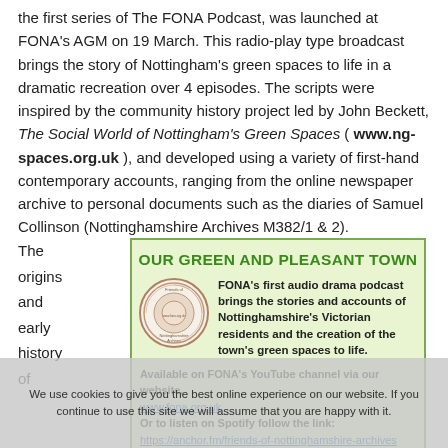the first series of The FONA Podcast, was launched at FONA's AGM on 19 March. This radio-play type broadcast brings the story of Nottingham's green spaces to life in a dramatic recreation over 4 episodes. The scripts were inspired by the community history project led by John Beckett, The Social World of Nottingham's Green Spaces ( www.ng-spaces.org.uk ), and developed using a variety of first-hand contemporary accounts, ranging from the online newspaper archive to personal documents such as the diaries of Samuel Collinson (Nottinghamshire Archives M382/1 & 2).
The origins and early history of
[Figure (infographic): Green box titled 'OUR GREEN AND PLEASANT TOWN' with FONA circular logo, description of audio drama podcast, links to YouTube channel (www.fona.org.uk) and Spotify (https://anchor.fm/friends-of-nottinghamshire-archives), and Episode 1 description: Towards A New Nottingham – explores the conditions in Nottingham prior to 1845, and why green spaces were so necessary.]
We use cookies to give you the best online experience on our website. If you continue to use this site we will assume that you are happy with it.